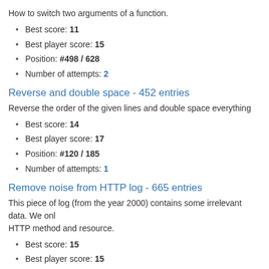How to switch two arguments of a function.
Best score: 11
Best player score: 15
Position: #498 / 628
Number of attempts: 2
Reverse and double space - 452 entries
Reverse the order of the given lines and double space everything
Best score: 14
Best player score: 17
Position: #120 / 185
Number of attempts: 1
Remove noise from HTTP log - 665 entries
This piece of log (from the year 2000) contains some irrelevant data. We only HTTP method and resource.
Best score: 15
Best player score: 15